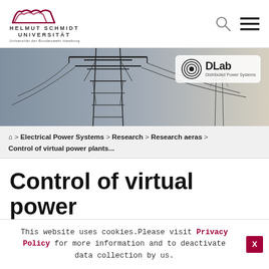[Figure (logo): Helmut Schmidt Universität logo with stylized crown/arch symbol in dark red/maroon, text reads HELMUT SCHMIDT UNIVERSITÄT, Universität der Bundeswehr Hamburg]
[Figure (photo): Banner photo of high-voltage electrical power transmission towers/pylons against a light sky, with DLab (Distributed Power Systems) logo badge in upper right]
⌂ > Electrical Power Systems > Research > Research aeras > Control of virtual power plants...
Control of virtual power
This website uses cookies.Please visit Privacy Policy for more information and to deactivate data collection by us.